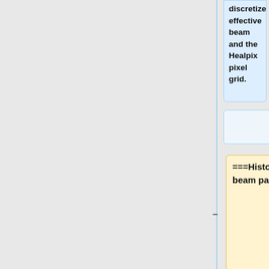discretized effective beam and the Healpix pixel grid.
===Histograms of the effective beam parameters===
Here we present histograms of the three fit parameters - beam FWHM, ellipticity, and orientation with respect to the local meridian and of the beam solid angle. The
<gallery widths=300px heights=220px perrow=3 caption="Sky variation of effective beams ellipticity of the best-fit Gaussian">